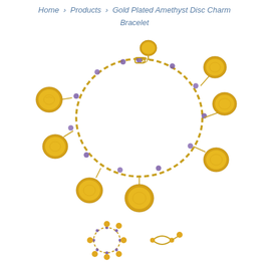Home > Products > Gold Plated Amethyst Disc Charm Bracelet
[Figure (photo): Gold plated amethyst disc charm bracelet with multiple circular gold disc charms and small purple amethyst beads on a gold chain, photographed on white background.]
[Figure (photo): Small thumbnail image of the bracelet shown from a different angle, circular view.]
[Figure (photo): Small thumbnail image showing a clasp or closure detail of the bracelet.]